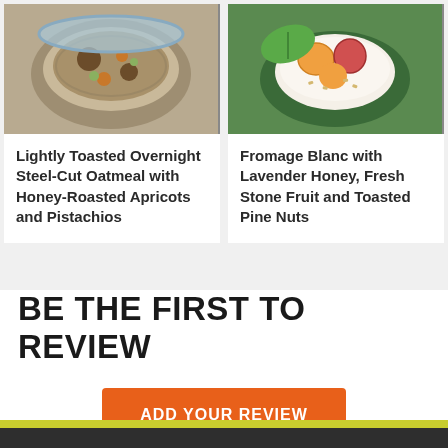[Figure (photo): Photo of oatmeal in a bowl with apricots and pistachios]
Lightly Toasted Overnight Steel-Cut Oatmeal with Honey-Roasted Apricots and Pistachios
[Figure (photo): Photo of fromage blanc with stone fruit and pine nuts on a green plate]
Fromage Blanc with Lavender Honey, Fresh Stone Fruit and Toasted Pine Nuts
BE THE FIRST TO REVIEW
ADD YOUR REVIEW